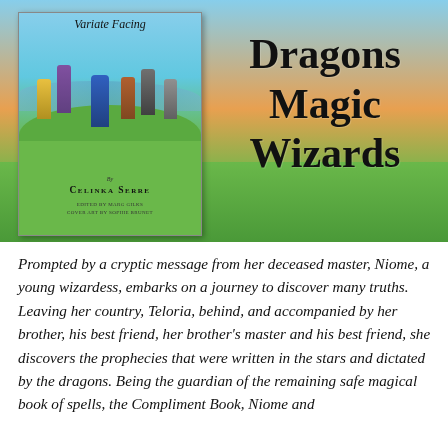[Figure (illustration): Book cover image for 'Variate Facing' by Celinka Serre. Left portion shows the book cover with a painted scene of robed figures standing on a green hill under a blue sky, with the title in script and author name in small caps. Right portion shows a gradient orange/green background with bold black text reading 'Dragons Magic Wizards'.]
Prompted by a cryptic message from her deceased master, Niome, a young wizardess, embarks on a journey to discover many truths. Leaving her country, Teloria, behind, and accompanied by her brother, his best friend, her brother's master and his best friend, she discovers the prophecies that were written in the stars and dictated by the dragons. Being the guardian of the remaining safe magical book of spells, the Compliment Book, Niome and